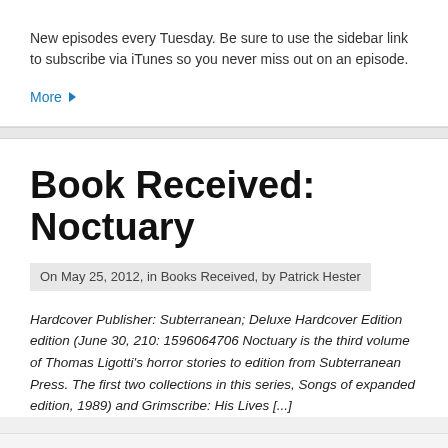New episodes every Tuesday. Be sure to use the sidebar link to subscribe via iTunes so you never miss out on an episode.
More ▶
Book Received: Noctuary
On May 25, 2012, in Books Received, by Patrick Hester
Hardcover Publisher: Subterranean; Deluxe Hardcover Edition edition (June 30, 2012) ISBN-10: 1596064706 Noctuary is the third volume of Thomas Ligotti's horror stories to be collected in a deluxe edition from Subterranean Press. The first two collections in this series, Songs of a Dead Dreamer (expanded edition, 1989) and Grimscribe: His Lives [...]
0 Comments
Tagged with: hardcover • horror • noctuary • su